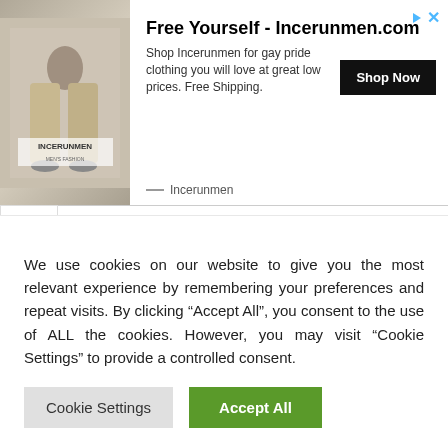[Figure (screenshot): Advertisement banner for Incerunmen.com featuring a photo of a person in beige wide-leg pants, brand logo text, headline 'Free Yourself - Incerunmen.com', body text about gay pride clothing, and a 'Shop Now' button.]
November 2021
October 2021
September 2021
August 2021
We use cookies on our website to give you the most relevant experience by remembering your preferences and repeat visits. By clicking “Accept All”, you consent to the use of ALL the cookies. However, you may visit "Cookie Settings" to provide a controlled consent.